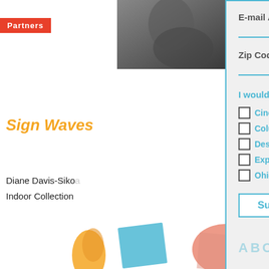Partners
[Figure (photo): Dark artistic photo, partially visible at top right of left column]
Sign Waves
Diane Davis-Sikora
Indoor Collection
[Figure (infographic): Orange diagonal hatch stripe pattern]
E-mail Address
Zip Code
I would like to hear more about events from:
Cincinnati Region
ColumbusMakesArt.com
Destination Cleveland
Experience Columbus
Ohio Arts Council
Subscribe
[Figure (illustration): Decorative colorful shapes at bottom: orange figure, blue rectangle, salmon/coral shape]